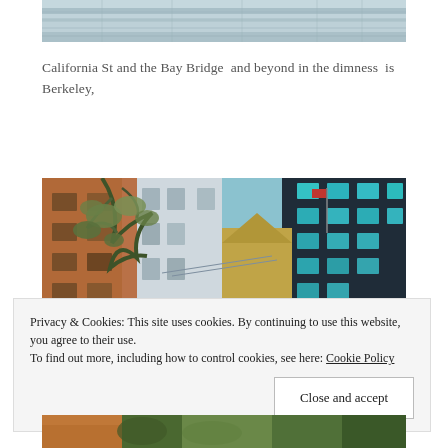[Figure (photo): Partial top of a photo showing the top of a building facade with light blue/white tones, cropped at upper portion.]
California St and the Bay Bridge  and beyond in the dimness  is Berkeley,
[Figure (photo): Urban street scene with tree branches in foreground, tall buildings including one with a pointed rooftop and flag, styled with painterly/surreal color processing.]
Privacy & Cookies: This site uses cookies. By continuing to use this website, you agree to their use.
To find out more, including how to control cookies, see here: Cookie Policy
[Figure (photo): Bottom strip of another photo showing urban/street scene.]